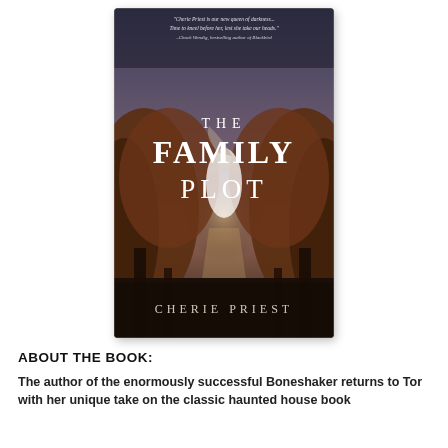[Figure (illustration): Book cover of 'The Family Plot' by Cherie Priest. Dark atmospheric cover with a ghostly figure in a white dress standing in a foggy, overgrown landscape. Text includes a quote: 'Cherie Priest is our new queen of darkness... Time to kneel before her, lest she take our heads.' - Chuck Wendig, bestselling author of Blackbird. The title 'THE FAMILY PLOT' is displayed in large white serif letters in the center, and 'CHERIE PRIEST' appears at the bottom.]
ABOUT THE BOOK:
The author of the enormously successful Boneshaker returns to Tor with her unique take on the classic haunted house book